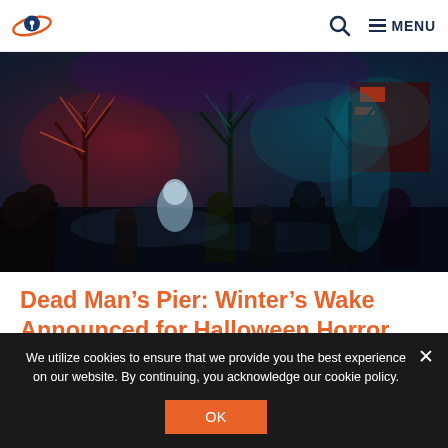Navigation bar with logo, search icon, and MENU
[Figure (photo): Nighttime Halloween Horror Nights scene with crowds of people walking among trees lit in red, blue and purple neon lights]
Dead Man’s Pier: Winter’s Wake Announced for Halloween Horror Nights 2022
We utilize cookies to ensure that we provide you the best experience on our website. By continuing, you acknowledge our cookie policy.
OK